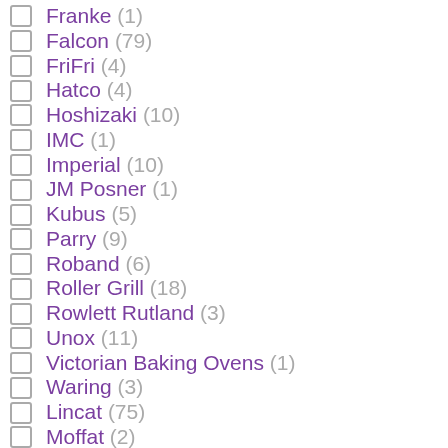Franke (1)
Falcon (79)
FriFri (4)
Hatco (4)
Hoshizaki (10)
IMC (1)
Imperial (10)
JM Posner (1)
Kubus (5)
Parry (9)
Roband (6)
Roller Grill (18)
Rowlett Rutland (3)
Unox (11)
Victorian Baking Ovens (1)
Waring (3)
Lincat (75)
Moffat (2)